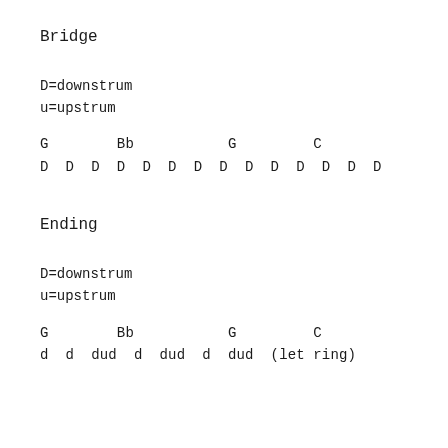Bridge
D=downstrum
u=upstrum
G        Bb           G         C
D  D  D  D  D  D  D  D  D  D  D  D  D  D
Ending
D=downstrum
u=upstrum
G        Bb           G         C
d  d  dud  d  dud  d  dud  (let ring)